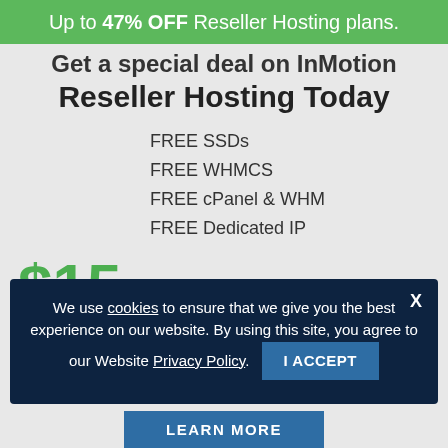Up to 47% OFF Reseller Hosting plans.
Get a special deal on InMotion Reseller Hosting Today
FREE SSDs
FREE WHMCS
FREE cPanel & WHM
FREE Dedicated IP
$15.99/mo
$29.99/mo
We use cookies to ensure that we give you the best experience on our website. By using this site, you agree to our Website Privacy Policy.
I ACCEPT
LEARN MORE